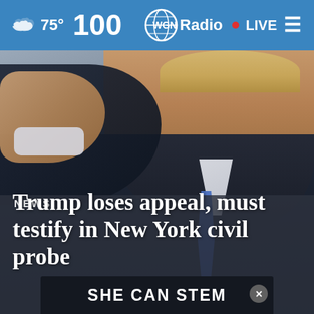75°  WGN Radio  LIVE
[Figure (photo): Man in dark suit pointing finger toward camera, face visible in background, wearing blue tie]
NEWS
Trump loses appeal, must testify in New York civil probe
SHE CAN STEM